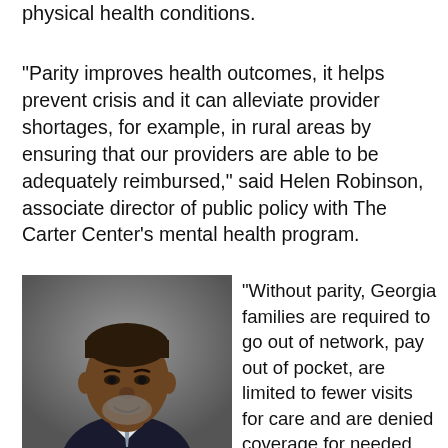physical health conditions.
"Parity improves health outcomes, it helps prevent crisis and it can alleviate provider shortages, for example, in rural areas by ensuring that our providers are able to be adequately reimbursed," said Helen Robinson, associate director of public policy with The Carter Center's mental health program.
[Figure (photo): Professional headshot of a man in a dark suit and tie, gray background]
"Without parity, Georgia families are required to go out of network, pay out of pocket, are limited to fewer visits for care and are denied coverage for needed behavioral health care because they are arbitrarily deemed to be not medically necessary without being provided an